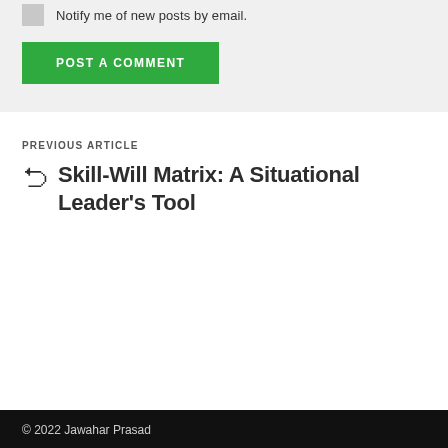Notify me of new posts by email.
POST A COMMENT
PREVIOUS ARTICLE
Skill-Will Matrix: A Situational Leader's Tool
© 2022 Jawahar Prasad